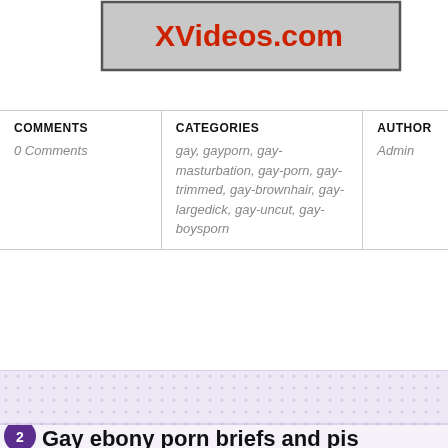[Figure (screenshot): XVideos.com banner/advertisement with red text on grey background with dark border]
| COMMENTS | CATEGORIES | AUTHOR |
| --- | --- | --- |
| 0 Comments | gay, gayporn, gay-masturbation, gay-porn, gay-trimmed, gay-brownhair, gay-largedick, gay-uncut, gay-boysporn | Admin |
[Figure (screenshot): Purple/lavender dotted decorative strip]
Gay ebony porn briefs and pis...